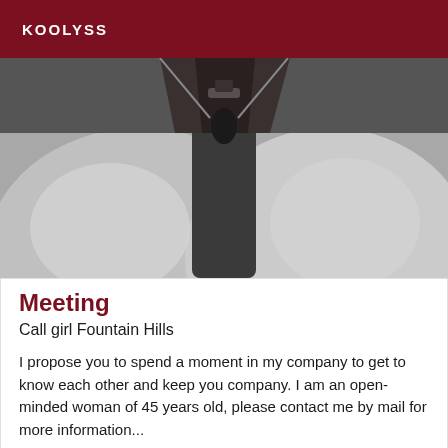KOOLYSS
[Figure (photo): Close-up black and white photograph showing an abstract view of curved forms with dark center element]
Meeting
Call girl Fountain Hills
I propose you to spend a moment in my company to get to know each other and keep you company. I am an open-minded woman of 45 years old, please contact me by mail for more information...